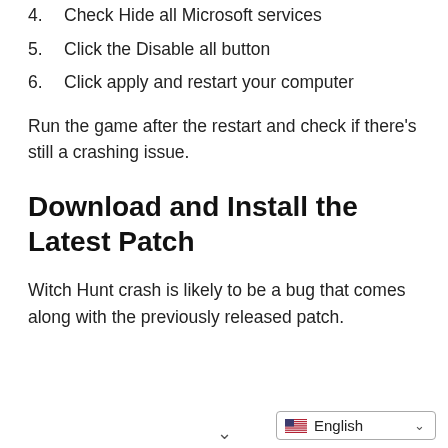4. Check Hide all Microsoft services
5. Click the Disable all button
6. Click apply and restart your computer
Run the game after the restart and check if there’s still a crashing issue.
Download and Install the Latest Patch
Witch Hunt crash is likely to be a bug that comes along with the previously released patch.